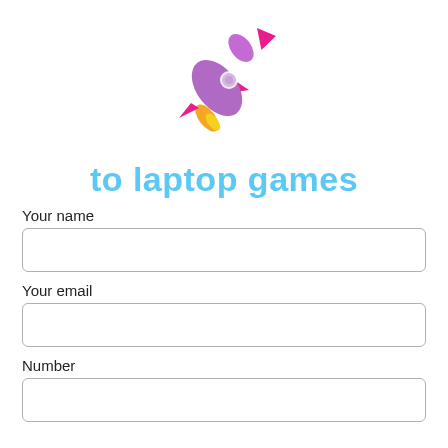[Figure (illustration): Rocket emoji illustration — purple rocket body with pink fins and orange/yellow flame, tilted diagonally upward to the right]
to laptop games
Your name
Your email
Number